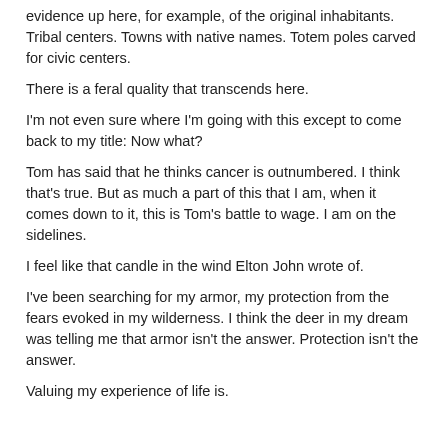evidence up here, for example, of the original inhabitants. Tribal centers. Towns with native names. Totem poles carved for civic centers.
There is a feral quality that transcends here.
I'm not even sure where I'm going with this except to come back to my title: Now what?
Tom has said that he thinks cancer is outnumbered. I think that's true. But as much a part of this that I am, when it comes down to it, this is Tom's battle to wage. I am on the sidelines.
I feel like that candle in the wind Elton John wrote of.
I've been searching for my armor, my protection from the fears evoked in my wilderness. I think the deer in my dream was telling me that armor isn't the answer. Protection isn't the answer.
Valuing my experience of life is.